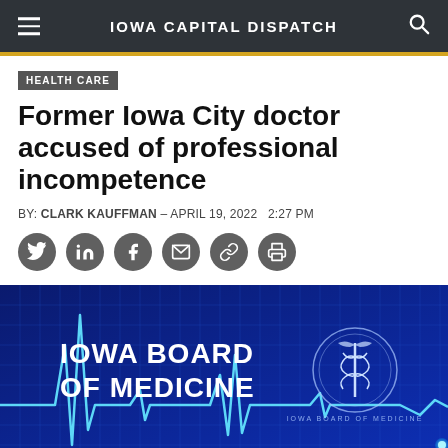IOWA CAPITAL DISPATCH
HEALTH CARE
Former Iowa City doctor accused of professional incompetence
BY: CLARK KAUFFMAN – APRIL 19, 2022   2:27 PM
[Figure (illustration): Iowa Board of Medicine header graphic with EKG heartbeat line on a blue grid background and the Iowa Board of Medicine seal/logo on the right side]